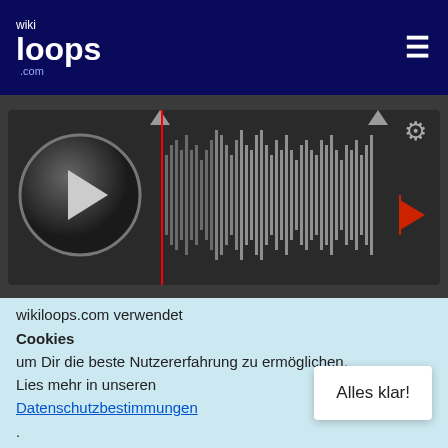wikiloops.com
[Figure (screenshot): Audio player with waveform display, play button, time display showing 00:00 and 03:24, 70 BPM, PUB badge]
[Figure (photo): User profile photo showing a person with long blonde hair]
+1
vor 6 Jahren
jaeusm
Thanks Psycho 😊
wikiloops.com verwendet Cookies um Dir die beste Nutzererfahrung zu ermöglichen. Lies mehr in unseren Datenschutzbestimmungen .
Alles klar!